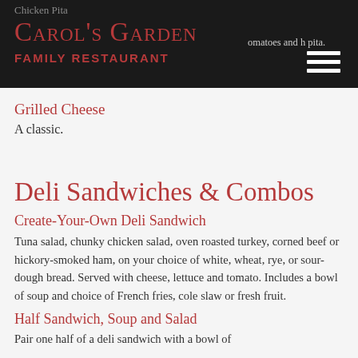Chicken Pita
Carol's Garden
Family Restaurant
[tomatoes and ... pita.]
Grilled Cheese
A classic.
Deli Sandwiches & Combos
Create-Your-Own Deli Sandwich
Tuna salad, chunky chicken salad, oven roasted turkey, corned beef or hickory-smoked ham, on your choice of white, wheat, rye, or sour-dough bread. Served with cheese, lettuce and tomato. Includes a bowl of soup and choice of French fries, cole slaw or fresh fruit.
Half Sandwich, Soup and Salad
Pair one half of a deli sandwich with a bowl of